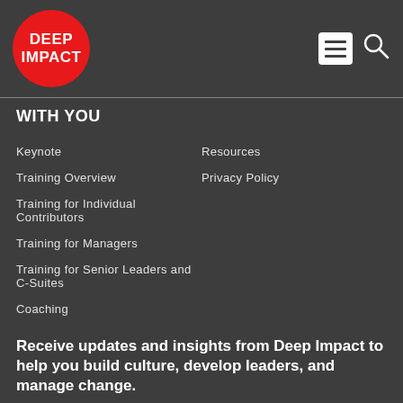DEEP IMPACT
WITH YOU
Keynote
Training Overview
Training for Individual Contributors
Training for Managers
Training for Senior Leaders and C-Suites
Coaching
Resources
Privacy Policy
Receive updates and insights from Deep Impact to help you build culture, develop leaders, and manage change.